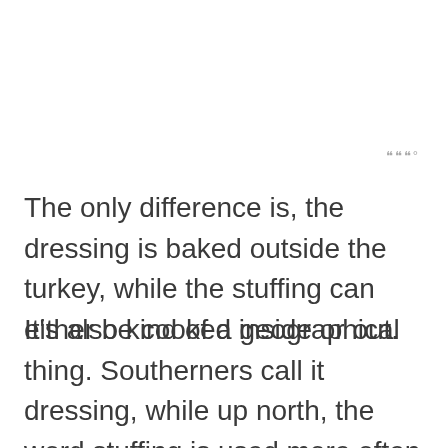⋮⋮⋮°
The only difference is, the dressing is baked outside the turkey, while the stuffing can either be cooked inside or out.
It's also kind of a geographical thing. Southerners call it dressing, while up north, the word stuffing is used more often.